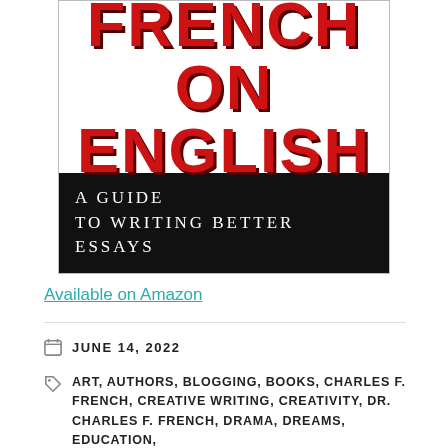[Figure (illustration): Book cover for 'French on English: A Guide to Writing Better Essays'. Top portion shows large bold red text 'FRENCH ON ENGLISH' on white background with dark shadow. Below is a black banner with white serif text reading 'A GUIDE TO WRITING BETTER ESSAYS'. White space at bottom.]
Available on Amazon
JUNE 14, 2022
ART, AUTHORS, BLOGGING, BOOKS, CHARLES F. FRENCH, CREATIVE WRITING, CREATIVITY, DR. CHARLES F. FRENCH, DRAMA, DREAMS, EDUCATION,